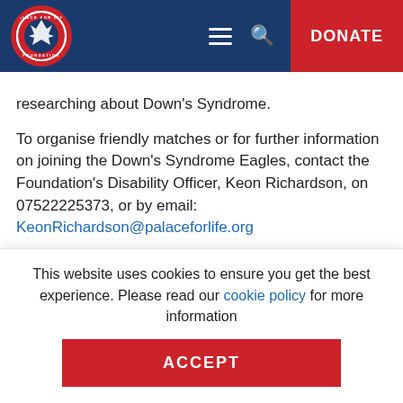Palace for Life Foundation — DONATE
researching about Down's Syndrome.
To organise friendly matches or for further information on joining the Down's Syndrome Eagles, contact the Foundation's Disability Officer, Keon Richardson, on 07522225373, or by email: KeonRichardson@palaceforlife.org
For more information on the Palace For Life
This website uses cookies to ensure you get the best experience. Please read our cookie policy for more information
ACCEPT